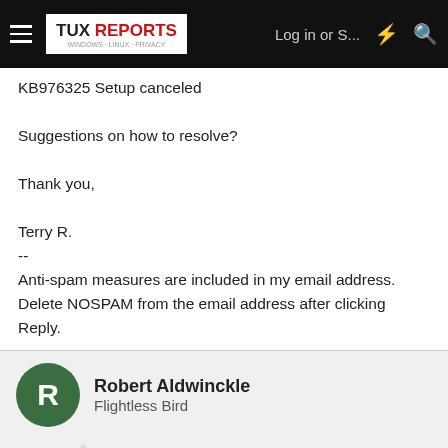TUX REPORTS | Log in or S... | [lightning icon] | [search icon]
KB976325 Setup canceled

Suggestions on how to resolve?

Thank you,

Terry R.
--
Anti-spam measures are included in my email address. Delete NOSPAM from the email address after clicking Reply.
Robert Aldwinckle
Flightless Bird
This site uses cookies to help personalise content, tailor your experience and to keep you logged in if you register.
By continuing to use this site, you are consenting to our use of cookies.
Accept | Learn more...